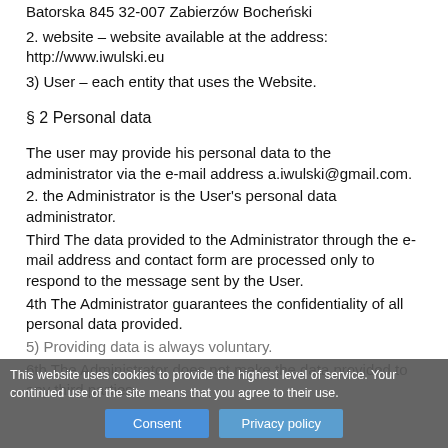Batorska 845 32-007 Zabierzów Bocheński
2. website – website available at the address: http://www.iwulski.eu
3) User – each entity that uses the Website.
§ 2 Personal data
The user may provide his personal data to the administrator via the e-mail address a.iwulski@gmail.com.
2. the Administrator is the User's personal data administrator.
Third The data provided to the Administrator through the e-mail address and contact form are processed only to respond to the message sent by the User.
4th The Administrator guarantees the confidentiality of all personal data provided.
5) Providing data is always voluntary.
6th The Administrator does not make the data provided to any third parties.
This website uses cookies to provide the highest level of service. Your continued use of the site means that you agree to their use.